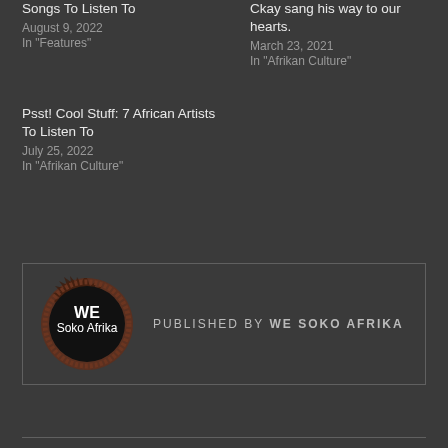Songs To Listen To
August 9, 2022
In "Features"
Ckay sang his way to our hearts.
March 23, 2021
In "Afrikan Culture"
Psst! Cool Stuff: 7 African Artists To Listen To
July 25, 2022
In "Afrikan Culture"
[Figure (logo): We Soko Afrika circular logo with spiky dark border, white text WE Soko Afrika on black background]
PUBLISHED BY WE SOKO AFRIKA